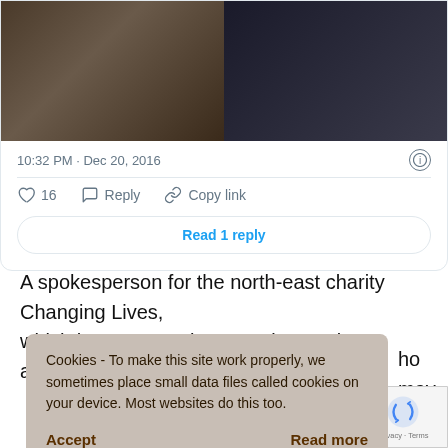[Figure (screenshot): Tweet card with two photos: left shows two people in a church/cathedral interior, right shows a lit Christmas tree at night outside a cathedral. Below photos shows timestamp 10:32 PM · Dec 20, 2016 with info icon, then action buttons: heart 16, Reply, Copy link, and Read 1 reply button.]
A spokesperson for the north-east charity Changing Lives, which has seen as increase in people accessing homelessness
ho may have
es and welfare
e into
Cookies - To make this site work properly, we sometimes place small data files called cookies on your device. Most websites do this too.
Accept
Read more
[Figure (screenshot): Google reCAPTCHA badge with spinning arrows logo and Privacy · Terms text]